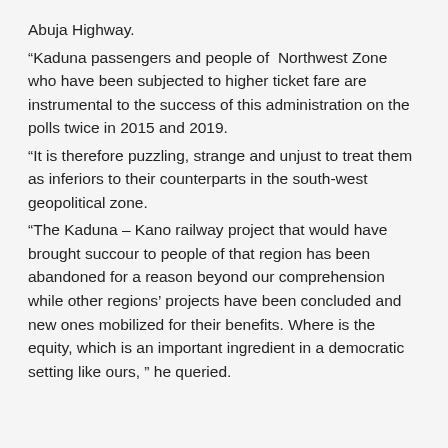Abuja Highway.
“Kaduna passengers and people of  Northwest Zone who have been subjected to higher ticket fare are instrumental to the success of this administration on the polls twice in 2015 and 2019.
“It is therefore puzzling, strange and unjust to treat them as inferiors to their counterparts in the south-west geopolitical zone.
“The Kaduna – Kano railway project that would have brought succour to people of that region has been abandoned for a reason beyond our comprehension while other regions’ projects have been concluded and new ones mobilized for their benefits. Where is the equity, which is an important ingredient in a democratic setting like ours, ” he queried.